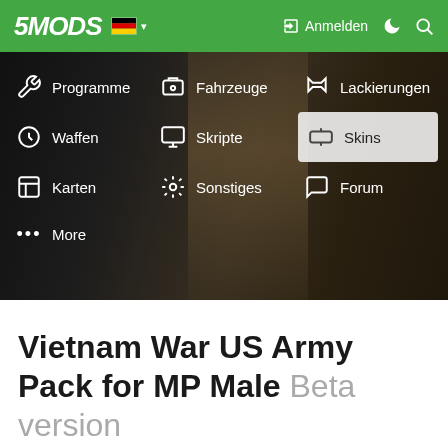5MODS — Anmelden
[Figure (screenshot): 5MODS website navigation menu screenshot showing dark background with navigation items: Programme, Fahrzeuge, Lackierungen, Waffen, Skripte, Skins (highlighted), Karten, Sonstiges, Forum, More. German flag and language selector visible in header.]
Vietnam War US Army Pack for MP Male Beta version